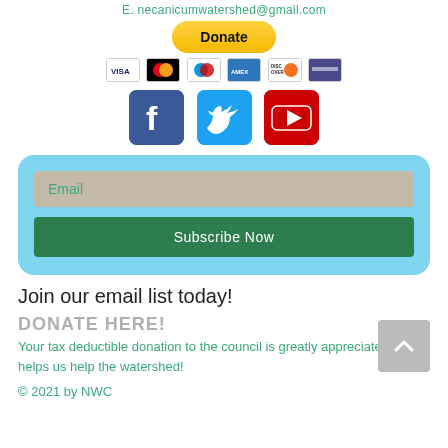E. necanicumwatershed@gmail.com
[Figure (other): Yellow PayPal Donate button]
[Figure (other): Payment method icons: Visa, Mastercard, Maestro, American Express, Discover, and one more card]
[Figure (other): Social media icons: Facebook (blue), Twitter (light blue), YouTube (red)]
[Figure (other): Email subscription box with light blue background, tan Email input field, and green Subscribe Now button]
Join our email list today!
DONATE HERE!
Your tax deductible donation to the council is greatly appreciated and helps us help the watershed!
© 2021 by NWC